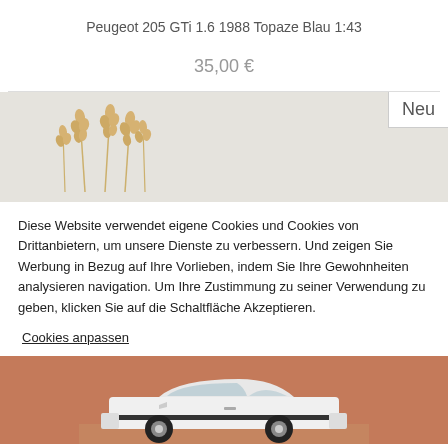Peugeot 205 GTi 1.6 1988 Topaze Blau 1:43
35,00 €
[Figure (photo): Product listing page for a Peugeot 205 GTi 1.6 1988 Topaze Blau 1:43 scale model. Shows a banner with wheat decoration and a 'Neu' badge, a cookie consent overlay, and a product image section with a white Peugeot 205 GTi model car on a terracotta/brown background.]
Diese Website verwendet eigene Cookies und Cookies von Drittanbietern, um unsere Dienste zu verbessern. Und zeigen Sie Werbung in Bezug auf Ihre Vorlieben, indem Sie Ihre Gewohnheiten analysieren navigation. Um Ihre Zustimmung zu seiner Verwendung zu geben, klicken Sie auf die Schaltfläche Akzeptieren.
Cookies anpassen